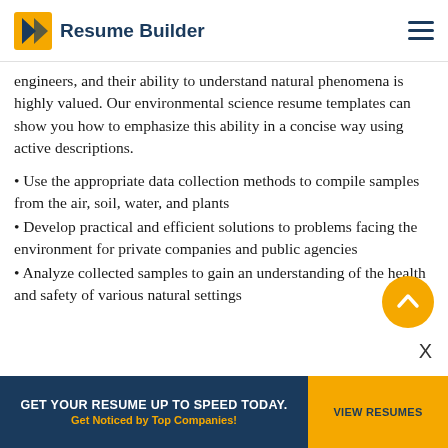Resume Builder
engineers, and their ability to understand natural phenomena is highly valued. Our environmental science resume templates can show you how to emphasize this ability in a concise way using active descriptions.
Use the appropriate data collection methods to compile samples from the air, soil, water, and plants
Develop practical and efficient solutions to problems facing the environment for private companies and public agencies
Analyze collected samples to gain an understanding of the health and safety of various natural settings
GET YOUR RESUME UP TO SPEED TODAY. Get Noticed by Top Companies! | VIEW RESUMES